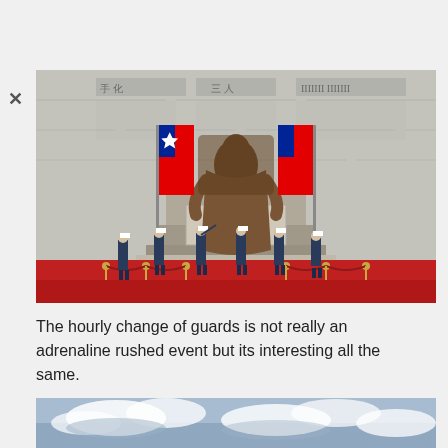[Figure (photo): Interior of Chiang Kai-shek Memorial Hall in Taipei, Taiwan. A large bronze statue of Chiang Kai-shek is seated on a throne-like chair against a white marble wall with Chinese inscriptions. Two Republic of China flags flank the statue. Six military honor guards in blue uniforms with white caps stand at attention on a red carpet in front of the statue, separated from tourists by red rope barriers on gold stanchions.]
The hourly change of guards is not really an adrenaline rushed event but its interesting all the same.
[Figure (photo): Partial view of a cloudy sky, light blue-grey tones with white clouds.]